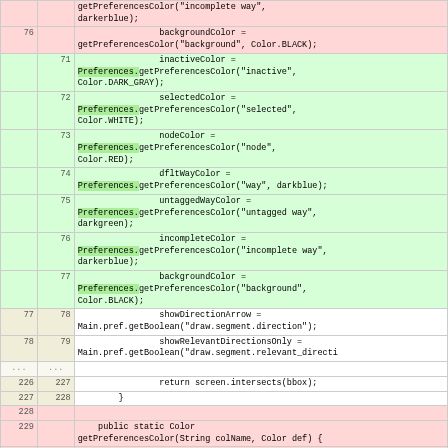| old ln | new ln | code |
| --- | --- | --- |
|  |  | getPreferencesColor("incomplete way", darkerblue); |
| 76 |  |             backgroundColor =
getPreferencesColor("background", Color.BLACK); |
|  | 71 |             inactiveColor =
Preferences.getPreferencesColor("inactive",
Color.DARK_GRAY); |
|  | 72 |             selectedColor =
Preferences.getPreferencesColor("selected",
Color.WHITE); |
|  | 73 |             nodeColor =
Preferences.getPreferencesColor("node",
Color.RED); |
|  | 74 |             dfltWayColor =
Preferences.getPreferencesColor("way", darkblue); |
|  | 75 |             untaggedWayColor =
Preferences.getPreferencesColor("untagged way",
darkgreen); |
|  | 76 |             incompleteColor =
Preferences.getPreferencesColor("incomplete way",
darkerblue); |
|  | 77 |             backgroundColor =
Preferences.getPreferencesColor("background",
Color.BLACK); |
| 77 | 78 |             showDirectionArrow =
Main.pref.getBoolean("draw.segment.direction"); |
| 78 | 79 |             showRelevantDirectionsOnly =
Main.pref.getBoolean("draw.segment.relevant_directi |
| ... | ... |  |
| 226 | 227 |             return screen.intersects(bbox); |
| 227 | 228 |         } |
| 228 |  |  |
| 229 |  |     public static Color
getPreferencesColor(String colName, Color def) { |
| 230 |  |         String colstr = |